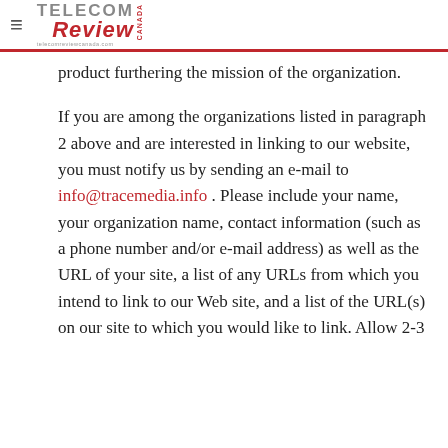≡ TELECOM Review CANADA
product furthering the mission of the organization.
If you are among the organizations listed in paragraph 2 above and are interested in linking to our website, you must notify us by sending an e-mail to info@tracemedia.info . Please include your name, your organization name, contact information (such as a phone number and/or e-mail address) as well as the URL of your site, a list of any URLs from which you intend to link to our Web site, and a list of the URL(s) on our site to which you would like to link. Allow 2-3